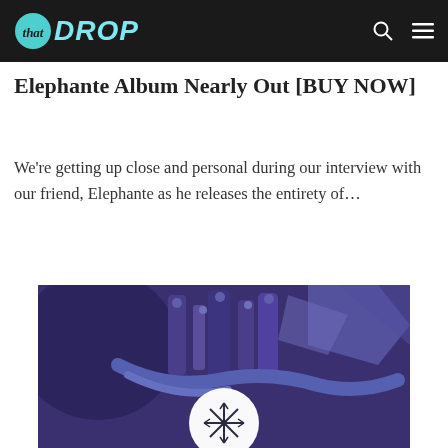that DROP
Elephante Album Nearly Out [BUY NOW]
We're getting up close and personal during our interview with our friend, Elephante as he releases the entirety of...
[Figure (illustration): Purple/violet colored mechanical/robotic illustration with a white circular element in the lower center containing a stylized burst/snowflake logo. Mechanical pipes, tubes, and geometric shapes in dark purple tones.]